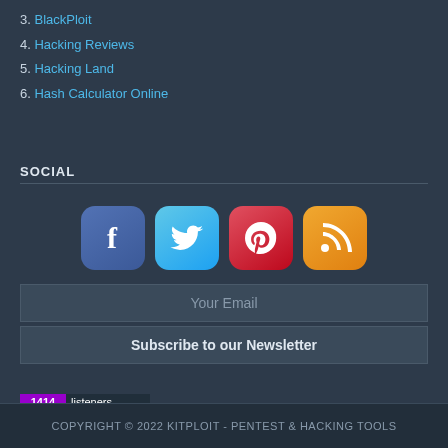3. BlackPloit
4. Hacking Reviews
5. Hacking Land
6. Hash Calculator Online
SOCIAL
[Figure (infographic): Four social media icon buttons: Facebook (blue), Twitter (light blue), Pinterest (red), RSS feed (orange)]
Your Email
Subscribe to our Newsletter
[Figure (other): FeedBurner badge showing 1414 listeners]
COPYRIGHT © 2022 KITPLOIT - PENTEST & HACKING TOOLS